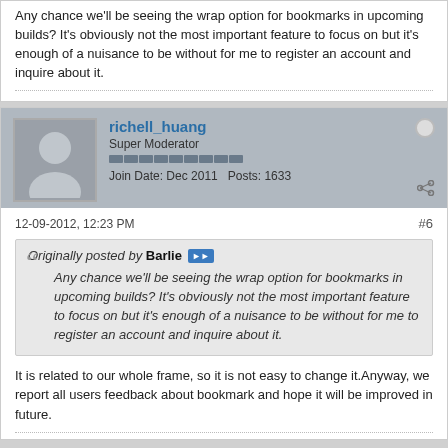Any chance we'll be seeing the wrap option for bookmarks in upcoming builds? It's obviously not the most important feature to focus on but it's enough of a nuisance to be without for me to register an account and inquire about it.
richell_huang
Super Moderator
Join Date: Dec 2011   Posts: 1633
12-09-2012, 12:23 PM
#6
Originally posted by Barlie
Any chance we'll be seeing the wrap option for bookmarks in upcoming builds? It's obviously not the most important feature to focus on but it's enough of a nuisance to be without for me to register an account and inquire about it.
It is related to our whole frame, so it is not easy to change it.Anyway, we report all users feedback about bookmark and hope it will be improved in future.